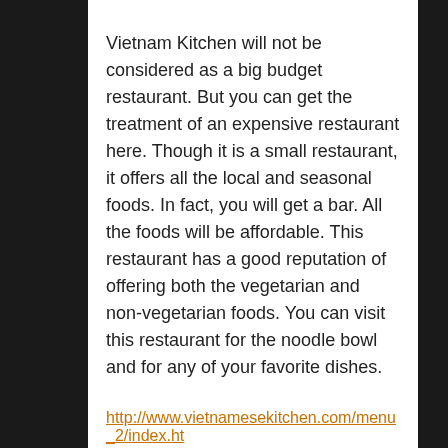Vietnam Kitchen will not be considered as a big budget restaurant. But you can get the treatment of an expensive restaurant here. Though it is a small restaurant, it offers all the local and seasonal foods. In fact, you will get a bar. All the foods will be affordable. This restaurant has a good reputation of offering both the vegetarian and non-vegetarian foods. You can visit this restaurant for the noodle bowl and for any of your favorite dishes.
http://www.vietnamesekitchen.com/menu_2/index.ht
Proof on Main
Have ever been in 21C museum hotel?